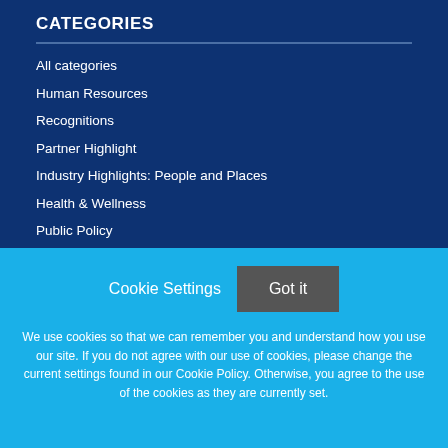CATEGORIES
All categories
Human Resources
Recognitions
Partner Highlight
Industry Highlights: People and Places
Health & Wellness
Public Policy
Law
Cookie Settings
Got it
We use cookies so that we can remember you and understand how you use our site. If you do not agree with our use of cookies, please change the current settings found in our Cookie Policy. Otherwise, you agree to the use of the cookies as they are currently set.